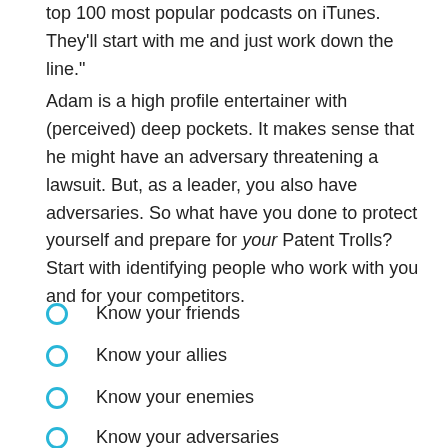top 100 most popular podcasts on iTunes. They'll start with me and just work down the line."
Adam is a high profile entertainer with (perceived) deep pockets. It makes sense that he might have an adversary threatening a lawsuit. But, as a leader, you also have adversaries. So what have you done to protect yourself and prepare for your Patent Trolls? Start with identifying people who work with you and for your competitors.
Know your friends
Know your allies
Know your enemies
Know your adversaries